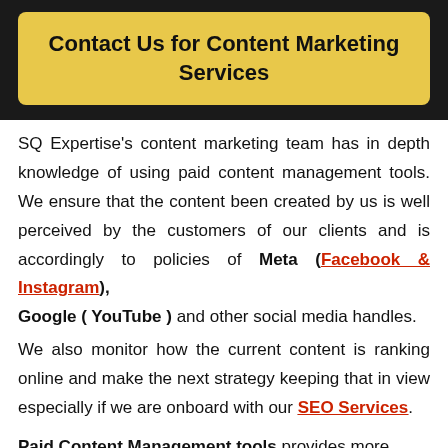Contact Us for Content Marketing Services
SQ Expertise's content marketing team has in depth knowledge of using paid content management tools. We ensure that the content been created by us is well perceived by the customers of our clients and is accordingly to policies of Meta (Facebook & Instagram), Google ( YouTube ) and other social media handles.
We also monitor how the current content is ranking online and make the next strategy keeping that in view especially if we are onboard with our SEO Services.
Paid Content Management tools provides more